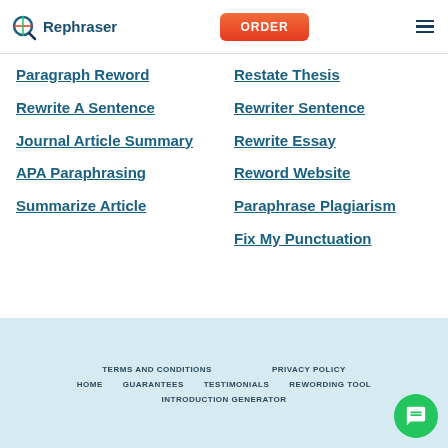Rephraser | ORDER
Paragraph Reword
Restate Thesis
Rewrite A Sentence
Rewriter Sentence
Journal Article Summary
Rewrite Essay
APA Paraphrasing
Reword Website
Summarize Article
Paraphrase Plagiarism
Fix My Punctuation
TERMS AND CONDITIONS | PRIVACY POLICY | HOME | GUARANTEES | TESTIMONIALS | REWORDING TOOL | INTRODUCTION GENERATOR